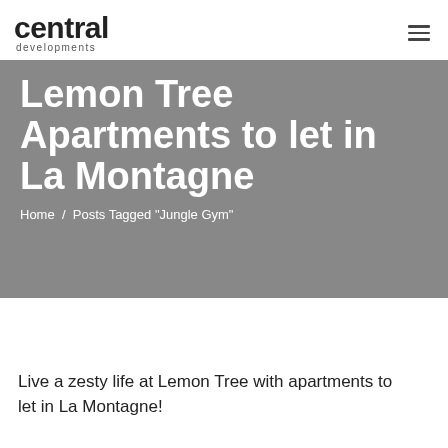central developments
Lemon Tree Apartments to let in La Montagne
Home / Posts Tagged "Jungle Gym"
Live a zesty life at Lemon Tree with apartments to let in La Montagne!